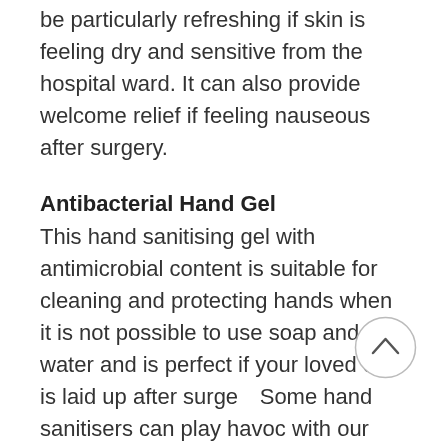be particularly refreshing if skin is feeling dry and sensitive from the hospital ward. It can also provide welcome relief if feeling nauseous after surgery.
Antibacterial Hand Gel
This hand sanitising gel with antimicrobial content is suitable for cleaning and protecting hands when it is not possible to use soap and water and is perfect if your loved one is laid up after surgery. Some hand sanitisers can play havoc with our hands from the drying effect of the alcohol, but we have chosen this hand gel because it contains 'squalane' derived from a plant source